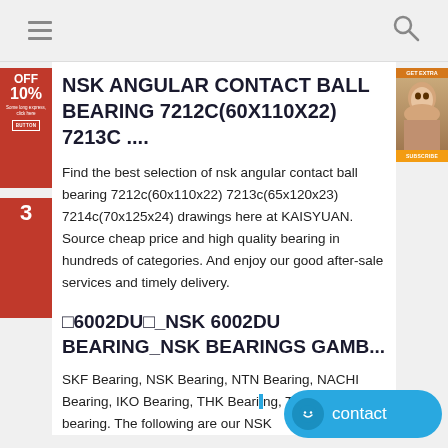NSK ANGULAR CONTACT BALL BEARING 7212C(60X110X22) 7213C ....
Find the best selection of nsk angular contact ball bearing 7212c(60x110x22) 7213c(65x120x23) 7214c(70x125x24) drawings here at KAISYUAN. Source cheap price and high quality bearing in hundreds of categories. And enjoy our good after-sale services and timely delivery.
□6002DU□_NSK 6002DU BEARING_NSK BEARINGS GAMB...
SKF Bearing, NSK Bearing, NTN Bearing, NACHI Bearing, IKO Bearing, THK Bearing, TIMKEN bearing. The following are our NSK